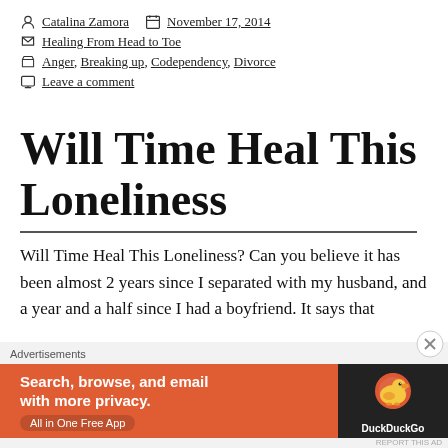Catalina Zamora   November 17, 2014
Healing From Head to Toe
Anger, Breaking up, Codependency, Divorce
Leave a comment
Will Time Heal This Loneliness
Will Time Heal This Loneliness? Can you believe it has been almost 2 years since I separated with my husband, and a year and a half since I had a boyfriend. It says that
Advertisements
[Figure (screenshot): DuckDuckGo advertisement banner: orange background with text 'Search, browse, and email with more privacy. All in One Free App' and DuckDuckGo logo on dark right panel.]